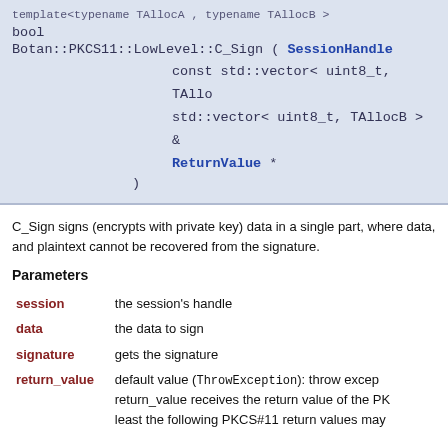template<typename TAllocA , typename TAllocB >
bool
Botan::PKCS11::LowLevel::C_Sign ( SessionHandle
const std::vector< uint8_t, TAllo
std::vector< uint8_t, TAllocB > &
ReturnValue *
)
C_Sign signs (encrypts with private key) data in a single part, where data, and plaintext cannot be recovered from the signature.
Parameters
session - the session's handle
data - the data to sign
signature - gets the signature
return_value - default value (ThrowException): throw except return_value receives the return value of the PK least the following PKCS#11 return values may